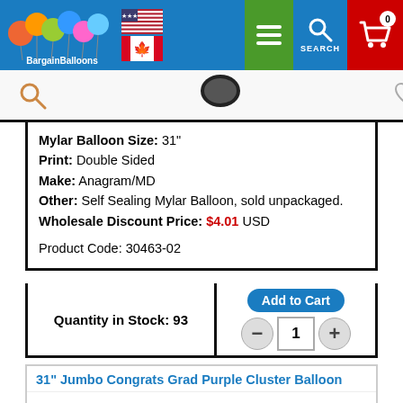BargainBalloons - Navigation header with logo, flags, menu, search, and cart
Mylar Balloon Size: 31"
Print: Double Sided
Make: Anagram/MD
Other: Self Sealing Mylar Balloon, sold unpackaged.
Wholesale Discount Price: $4.01 USD
Product Code: 30463-02
Quantity in Stock: 93
Add to Cart
31" Jumbo Congrats Grad Purple Cluster Balloon
[Figure (photo): Partial view of 31 inch Jumbo Congrats Grad Purple Cluster Balloon product image showing stars and CONGRATS text]